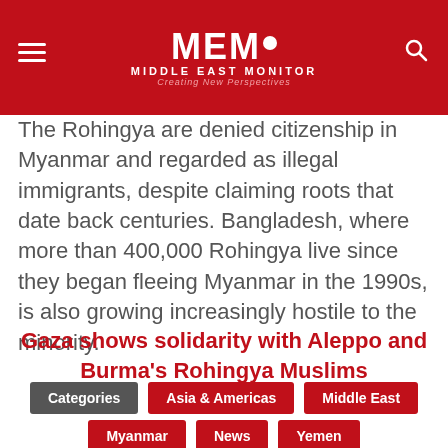[Figure (logo): MEMO Middle East Monitor logo with red background, hamburger menu icon on left, search icon on right, white MEMO text with circle O, subtitle MIDDLE EAST MONITOR, tagline Creating New Perspectives]
The Rohingya are denied citizenship in Myanmar and regarded as illegal immigrants, despite claiming roots that date back centuries. Bangladesh, where more than 400,000 Rohingya live since they began fleeing Myanmar in the 1990s, is also growing increasingly hostile to the minority.
Gaza shows solidarity with Aleppo and Burma's Rohingya Muslims
Categories
Asia & Americas
Middle East
Myanmar
News
Yemen